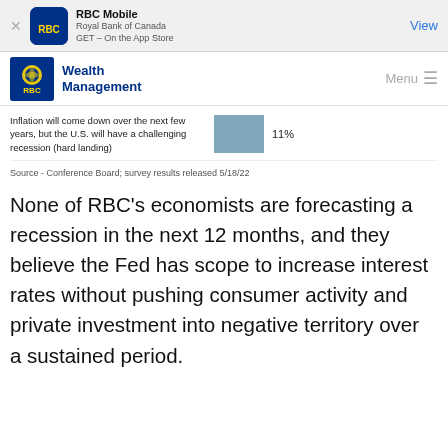RBC Mobile — Royal Bank of Canada — GET – On the App Store — View
RBC Wealth Management — Menu
[Figure (bar-chart): ]
Source - Conference Board; survey results released 5/18/22
None of RBC's economists are forecasting a recession in the next 12 months, and they believe the Fed has scope to increase interest rates without pushing consumer activity and private investment into negative territory over a sustained period.